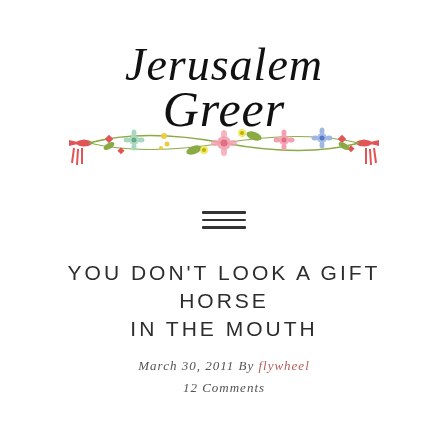[Figure (logo): Jerusalem Greer handwritten script logo with decorative floral banner illustration beneath featuring flowers, leaves, and ribbons in pink, red, green, yellow, and blue]
[Figure (other): Hamburger menu icon — three horizontal parallel lines]
YOU DON'T LOOK A GIFT HORSE IN THE MOUTH
March 30, 2011 By flywheel
12 Comments